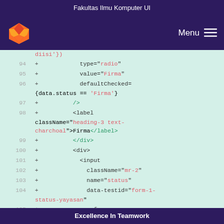Fakultas Ilmu Komputer UI
[Figure (screenshot): Navigation bar with GitLab fox logo on left and Menu hamburger icon on right, dark purple background]
Code diff view showing lines 94-105 of JSX code with line numbers and green plus signs indicating added lines. Code includes type="radio", value="Firma", defaultChecked={data.status == 'Firma'}, />, <label className="heading-3 text-charchoal">Firma</label>, </div>, <div>, <input, className="mr-2", name="status", data-testid="form-1-status-yayasan", ref={register({required: 'Wajib
Excellence In Teamwork